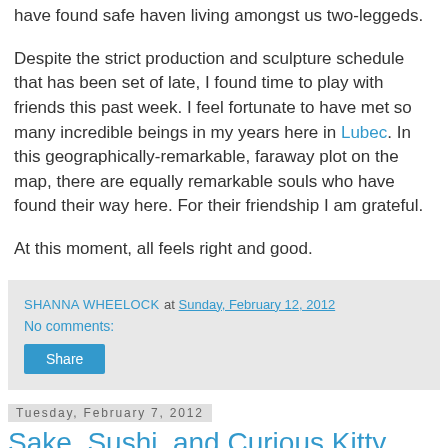have found safe haven living amongst us two-leggeds.
Despite the strict production and sculpture schedule that has been set of late, I found time to play with friends this past week. I feel fortunate to have met so many incredible beings in my years here in Lubec. In this geographically-remarkable, faraway plot on the map, there are equally remarkable souls who have found their way here. For their friendship I am grateful.
At this moment, all feels right and good.
SHANNA WHEELOCK at Sunday, February 12, 2012
No comments:
Share
Tuesday, February 7, 2012
Sake, Sushi, and Curious Kitty